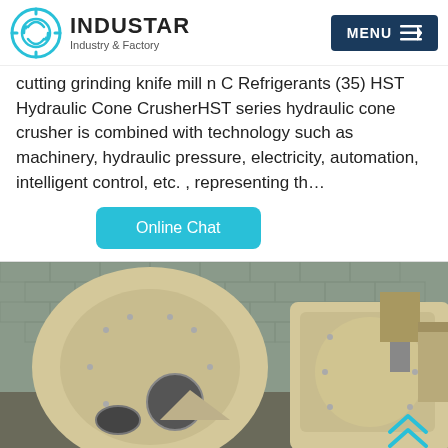INDUSTAR Industry & Factory | MENU
cutting grinding knife mill n C Refrigerants (35) HST Hydraulic Cone CrusherHST series hydraulic cone crusher is combined with technology such as machinery, hydraulic pressure, electricity, automation, intelligent control, etc. , representing th…
Online Chat
[Figure (photo): Two large industrial ball mill or cone crusher machines painted cream/beige, photographed outdoors against a brick wall background.]
Email | OnlineChat | Message